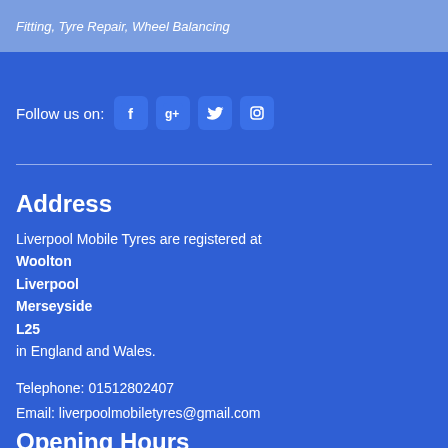Fitting, Tyre Repair, Wheel Balancing
Follow us on:
[Figure (other): Social media icons: Facebook, Google+, Twitter, Instagram]
Address
Liverpool Mobile Tyres are registered at Woolton Liverpool Merseyside L25 in England and Wales.
Telephone: 01512802407
Email: liverpoolmobiletyres@gmail.com
Opening Hours